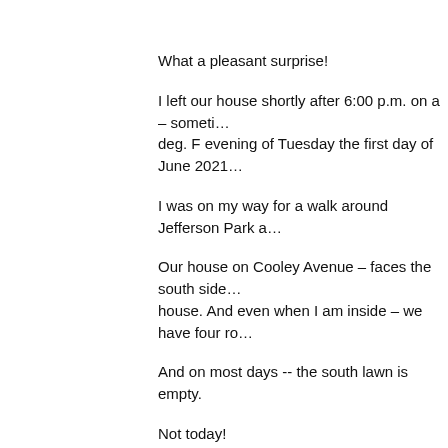What a pleasant surprise!
I left our house shortly after 6:00 p.m. on a – someti… deg. F evening of Tuesday the first day of June 2021…
I was on my way for a walk around Jefferson Park a…
Our house on Cooley Avenue – faces the south side… house. And even when I am inside – we have four ro…
And on most days -- the south lawn is empty.
Not today!
The south lawn was packed with over a dozen Youn… coaches.
Now I don't know anything about American football -… -- you can bet I get excited.
And excited I was – as for a full five minutes I clicke…
The attached four photographs should give you som… the sixth month of 2021 – between a dozen young…